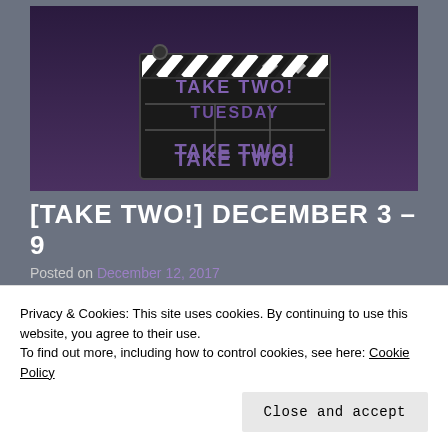[Figure (illustration): A movie clapperboard graphic with text 'TAKE TWO! TUESDAY' on a dark purple/black background.]
[TAKE TWO!] DECEMBER 3 – 9
Posted on December 12, 2017
Hey guys! Welcome back to Take Two! My official round-up post for the previous week. In case you're
Privacy & Cookies: This site uses cookies. By continuing to use this website, you agree to their use.
To find out more, including how to control cookies, see here: Cookie Policy
Close and accept